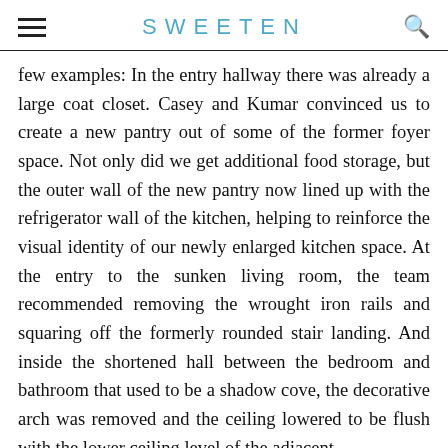SWEETEN
few examples: In the entry hallway there was already a large coat closet. Casey and Kumar convinced us to create a new pantry out of some of the former foyer space. Not only did we get additional food storage, but the outer wall of the new pantry now lined up with the refrigerator wall of the kitchen, helping to reinforce the visual identity of our newly enlarged kitchen space. At the entry to the sunken living room, the team recommended removing the wrought iron rails and squaring off the formerly rounded stair landing. And inside the shortened hall between the bedroom and bathroom that used to be a shadow cove, the decorative arch was removed and the ceiling lowered to be flush with the lower ceiling level of the adjacent